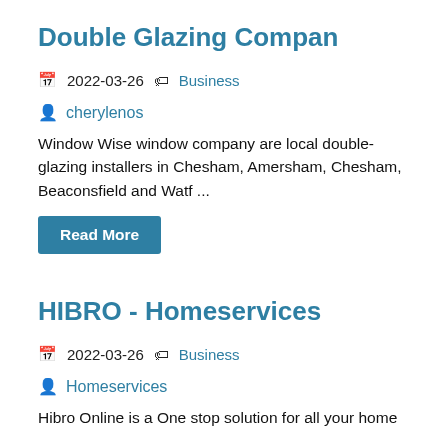Double Glazing Compan
📅 2022-03-26 🏷 Business
👤 cherylenos
Window Wise window company are local double-glazing installers in Chesham, Amersham, Chesham, Beaconsfield and Watf ...
Read More
HIBRO - Homeservices
📅 2022-03-26 🏷 Business
👤 Homeservices
Hibro Online is a One stop solution for all your home